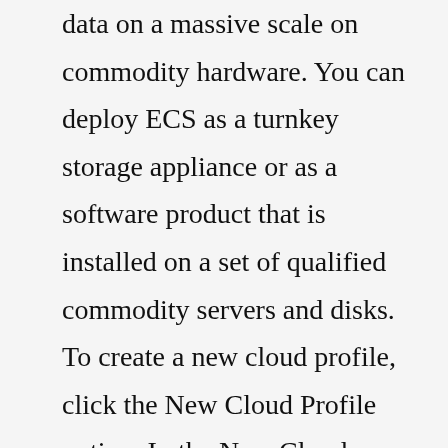data on a massive scale on commodity hardware. You can deploy ECS as a turnkey storage appliance or as a software product that is installed on a set of qualified commodity servers and disks. To create a new cloud profile, click the New Cloud Profile option. In the New Cloud Profile page, add the necessary information to the appropriate fields: • Display Name field to specify the name for the ECS cloud profile. • Cloud Storage Provider field to select